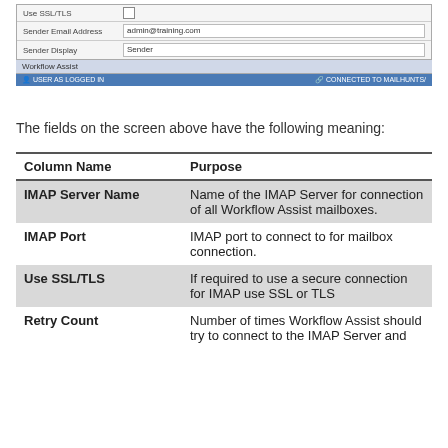[Figure (screenshot): Screenshot of a Workflow Assist application window showing form fields: Use SSL/TLS (checkbox), Sender Email Address (admin@training.com), Sender Display (Sender). A blue status bar at the bottom shows 'USER AS LOGGED IN' and 'CONNECTED TO MAILHUNTS/'.]
The fields on the screen above have the following meaning:
| Column Name | Purpose |
| --- | --- |
| IMAP Server Name | Name of the IMAP Server for connection of all Workflow Assist mailboxes. |
| IMAP Port | IMAP port to connect to for mailbox connection. |
| Use SSL/TLS | If required to use a secure connection for IMAP use SSL or TLS |
| Retry Count | Number of times Workflow Assist should try to connect to the IMAP Server and |